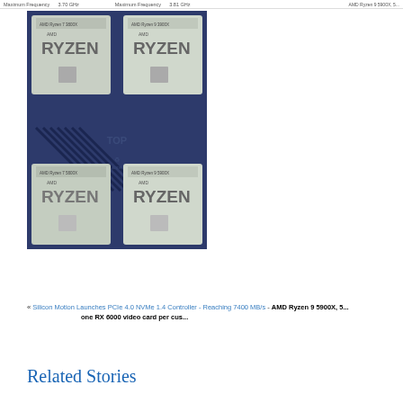[Figure (photo): Photo of four AMD Ryzen processor chips arranged in a 2x2 grid on a blue motherboard tray. The chips show the AMD RYZEN branding on their silver integrated heat spreaders.]
« Silicon Motion Launches PCIe 4.0 NVMe 1.4 Controller - Reaching 7400 MB/s - AMD Ryzen 9 5900X, 5... one RX 6000 video card per cus...
Related Stories